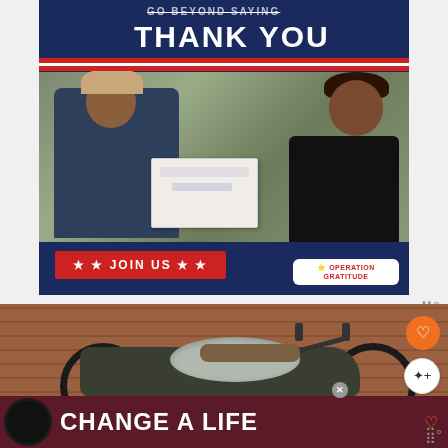[Figure (photo): Military appreciation image: A Navy service member in camouflage uniform and tan cap receives a care package box from a civilian woman. Dark navy blue background with red-white-blue ribbon stripe. Text: 'GO BEYOND SAYING THANK YOU'. Red banner: '★ ★ JOIN US ★ ★'. Operation Gratitude logo badge in bottom right.]
[Figure (photo): Vintage/custom motorcycle (bobber style) with silver tank parked in front of a brick wall. Heart/like button (orange circle) and share button (white circle) overlay on right side. 'WHAT'S NEXT →' panel with 'Kawasaki GPZ500...' thumbnail in bottom right corner.]
[Figure (photo): Advertisement banner at bottom: Dark maroon/burgundy background with a black Labrador dog image on left and large white bold text 'CHANGE A LIFE' with a small heart icon. Close X button visible.]